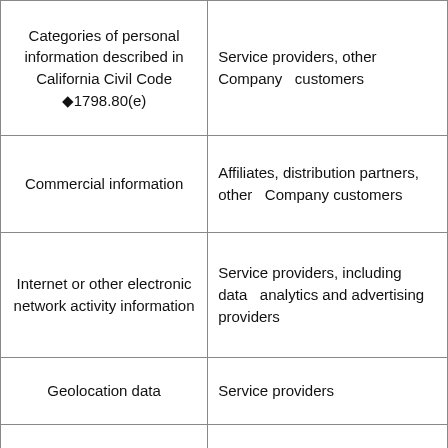| Categories of personal information described in California Civil Code §1798.80(e) | Third parties |
| --- | --- |
| Categories of personal information described in California Civil Code ◆1798.80(e) | Service providers, other Company   customers |
| Commercial information | Affiliates, distribution partners, other   Company customers |
| Internet or other electronic network activity information | Service providers, including data   analytics and advertising providers |
| Geolocation data | Service providers |
| Professional or employment-related information | Service providers, other Company   customers |
| Inferences | Service providers, including data   analytics and advertising providers |